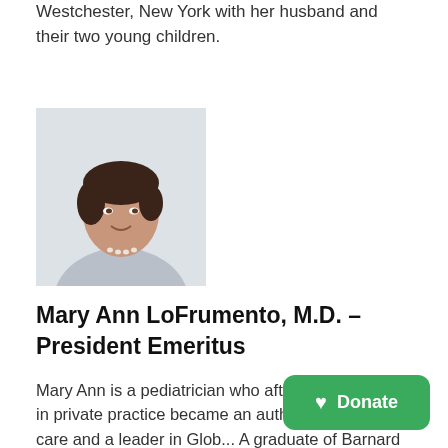Westchester, New York with her husband and their two young children.
[Figure (photo): Portrait photo of Mary Ann LoFrumento, a woman with short dark hair, smiling, wearing a light blazer and pearl necklace.]
Mary Ann LoFrumento, M.D. – President Emeritus
Mary Ann is a pediatrician who after two decades in private practice became an author on newborn care and a leader in Glob... A graduate of Barnard College and the University of